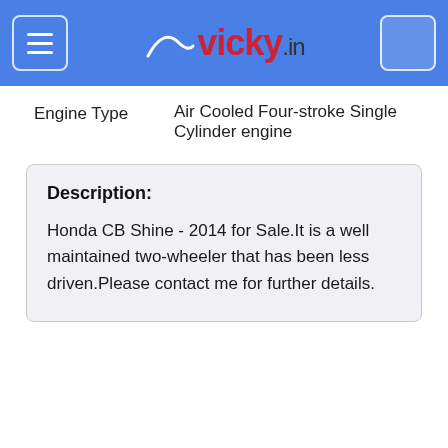vicky.in
| Engine Type | Air Cooled Four-stroke Single Cylinder engine |
| --- | --- |
Description:
Honda CB Shine - 2014 for Sale.It is a well maintained two-wheeler that has been less driven.Please contact me for further details.